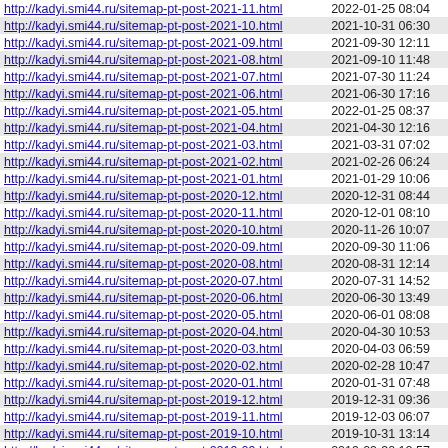| URL | Date |
| --- | --- |
| http://kadyi.smi44.ru/sitemap-pt-post-2021-11.html | 2022-01-25 08:04 |
| http://kadyi.smi44.ru/sitemap-pt-post-2021-10.html | 2021-10-31 06:30 |
| http://kadyi.smi44.ru/sitemap-pt-post-2021-09.html | 2021-09-30 12:11 |
| http://kadyi.smi44.ru/sitemap-pt-post-2021-08.html | 2021-09-10 11:48 |
| http://kadyi.smi44.ru/sitemap-pt-post-2021-07.html | 2021-07-30 11:24 |
| http://kadyi.smi44.ru/sitemap-pt-post-2021-06.html | 2021-06-30 17:16 |
| http://kadyi.smi44.ru/sitemap-pt-post-2021-05.html | 2022-01-25 08:37 |
| http://kadyi.smi44.ru/sitemap-pt-post-2021-04.html | 2021-04-30 12:16 |
| http://kadyi.smi44.ru/sitemap-pt-post-2021-03.html | 2021-03-31 07:02 |
| http://kadyi.smi44.ru/sitemap-pt-post-2021-02.html | 2021-02-26 06:24 |
| http://kadyi.smi44.ru/sitemap-pt-post-2021-01.html | 2021-01-29 10:06 |
| http://kadyi.smi44.ru/sitemap-pt-post-2020-12.html | 2020-12-31 08:44 |
| http://kadyi.smi44.ru/sitemap-pt-post-2020-11.html | 2020-12-01 08:10 |
| http://kadyi.smi44.ru/sitemap-pt-post-2020-10.html | 2020-11-26 10:07 |
| http://kadyi.smi44.ru/sitemap-pt-post-2020-09.html | 2020-09-30 11:06 |
| http://kadyi.smi44.ru/sitemap-pt-post-2020-08.html | 2020-08-31 12:14 |
| http://kadyi.smi44.ru/sitemap-pt-post-2020-07.html | 2020-07-31 14:52 |
| http://kadyi.smi44.ru/sitemap-pt-post-2020-06.html | 2020-06-30 13:49 |
| http://kadyi.smi44.ru/sitemap-pt-post-2020-05.html | 2020-06-01 08:08 |
| http://kadyi.smi44.ru/sitemap-pt-post-2020-04.html | 2020-04-30 10:53 |
| http://kadyi.smi44.ru/sitemap-pt-post-2020-03.html | 2020-04-03 06:59 |
| http://kadyi.smi44.ru/sitemap-pt-post-2020-02.html | 2020-02-28 10:47 |
| http://kadyi.smi44.ru/sitemap-pt-post-2020-01.html | 2020-01-31 07:48 |
| http://kadyi.smi44.ru/sitemap-pt-post-2019-12.html | 2019-12-31 09:36 |
| http://kadyi.smi44.ru/sitemap-pt-post-2019-11.html | 2019-12-03 06:07 |
| http://kadyi.smi44.ru/sitemap-pt-post-2019-10.html | 2019-10-31 13:14 |
| http://kadyi.smi44.ru/sitemap-pt-post-2019-09.html | 2019-09-30 12:57 |
| http://kadyi.smi44.ru/sitemap-pt-post-2019-08.html | 2019-08-27 11:07 |